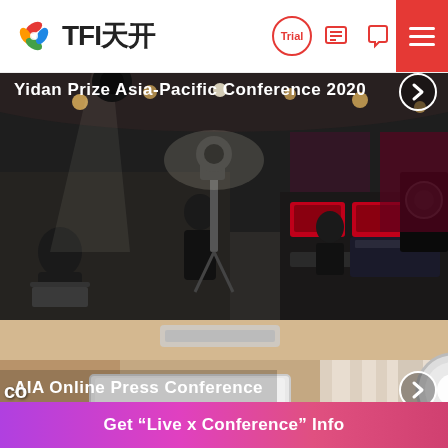TFI天开
Yidan Prize Asia-Pacific Conference 2020
[Figure (photo): Conference venue setup with broadcast equipment, cameras, and lighting for the Yidan Prize Asia-Pacific Conference 2020 and AIA Online Press Conference]
AIA Online Press Conference
[Figure (photo): Studio setup with softbox lighting, camera equipment, and CARE24.GLOBAL signage for an online press conference]
Get "Live x Conference" Info